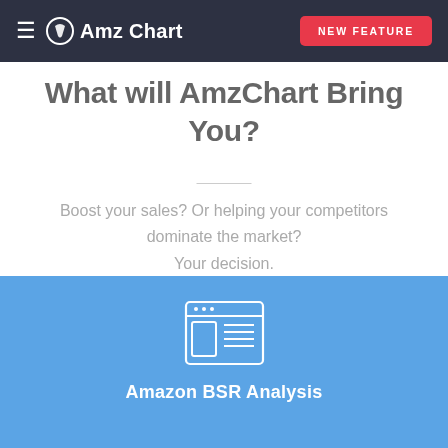AmzChart — NEW FEATURE
What will AmzChart Bring You?
Boost your sales? Or helping your competitors dominate the market? Your decision.
[Figure (illustration): Browser/dashboard window icon with document content lines, white outline on blue background]
Amazon BSR Analysis